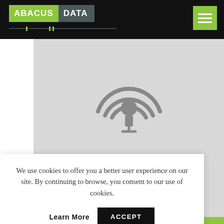ABACUS DATA
[Figure (illustration): Podcast/audio icon (microphone with broadcast waves) centered on a light gray background area]
We use cookies to offer you a better user experience on our site. By continuing to browse, you consent to our use of cookies.
Learn More   ACCEPT